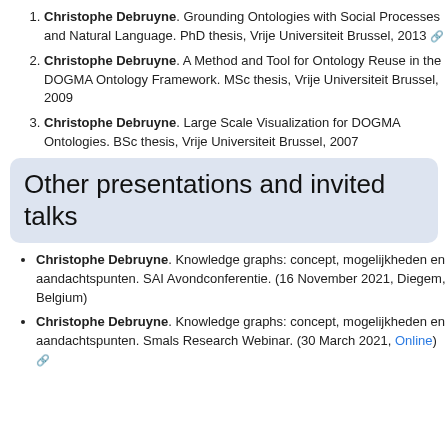Christophe Debruyne. Grounding Ontologies with Social Processes and Natural Language. PhD thesis, Vrije Universiteit Brussel, 2013 [link]
Christophe Debruyne. A Method and Tool for Ontology Reuse in the DOGMA Ontology Framework. MSc thesis, Vrije Universiteit Brussel, 2009
Christophe Debruyne. Large Scale Visualization for DOGMA Ontologies. BSc thesis, Vrije Universiteit Brussel, 2007
Other presentations and invited talks
Christophe Debruyne. Knowledge graphs: concept, mogelijkheden en aandachtspunten. SAI Avondconferentie. (16 November 2021, Diegem, Belgium)
Christophe Debruyne. Knowledge graphs: concept, mogelijkheden en aandachtspunten. Smals Research Webinar. (30 March 2021, Online) [link]